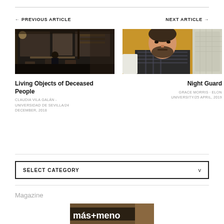← PREVIOUS ARTICLE
NEXT ARTICLE →
[Figure (photo): Dark interior of a cafe or bookshop with bookshelves, tables, chairs, and a person seated.]
Living Objects of Deceased People
CLAUDIA VILA GALÁN - UNIVERSIDAD DE SEVILLA/24 DECEMBER, 2018
[Figure (photo): A bearded man in a plaid shirt seated at an outdoor cafe with a warm yellow wall background.]
Night Guard
GRACE MORRIS · ELON UNIVERSITY/25 APRIL, 2019
SELECT CATEGORY
Magazine
[Figure (screenshot): Partial image showing magazine cover with text 'más+meno' partially visible.]